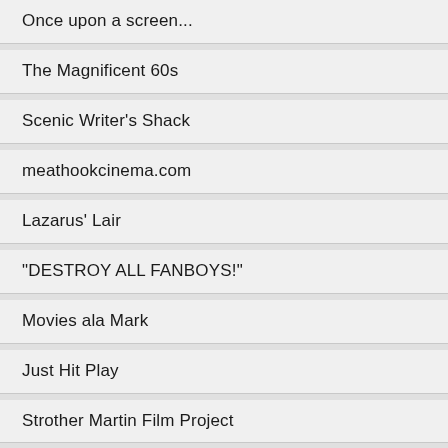Once upon a screen...
The Magnificent 60s
Scenic Writer's Shack
meathookcinema.com
Lazarus' Lair
"DESTROY ALL FANBOYS!"
Movies ala Mark
Just Hit Play
Strother Martin Film Project
Sophia Riley Kobacker